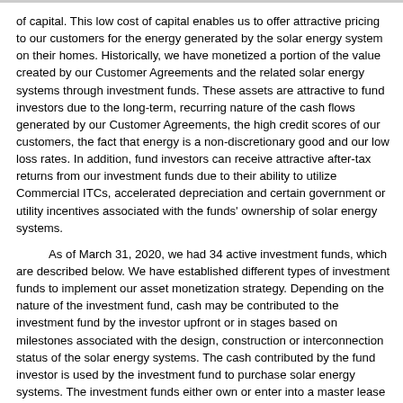of capital. This low cost of capital enables us to offer attractive pricing to our customers for the energy generated by the solar energy system on their homes. Historically, we have monetized a portion of the value created by our Customer Agreements and the related solar energy systems through investment funds. These assets are attractive to fund investors due to the long-term, recurring nature of the cash flows generated by our Customer Agreements, the high credit scores of our customers, the fact that energy is a non-discretionary good and our low loss rates. In addition, fund investors can receive attractive after-tax returns from our investment funds due to their ability to utilize Commercial ITCs, accelerated depreciation and certain government or utility incentives associated with the funds' ownership of solar energy systems.
As of March 31, 2020, we had 34 active investment funds, which are described below. We have established different types of investment funds to implement our asset monetization strategy. Depending on the nature of the investment fund, cash may be contributed to the investment fund by the investor upfront or in stages based on milestones associated with the design, construction or interconnection status of the solar energy systems. The cash contributed by the fund investor is used by the investment fund to purchase solar energy systems. The investment funds either own or enter into a master lease with a Sunrun subsidiary for the